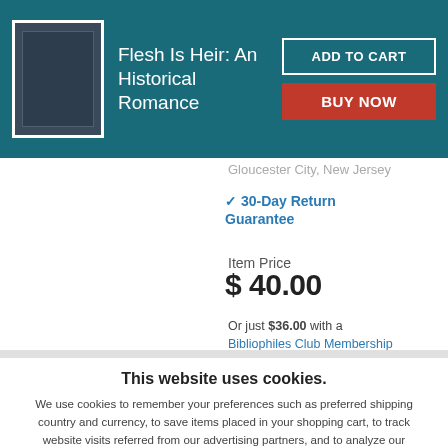Flesh Is Heir: An Historical Romance
Gloucester City, New Jersey
✓ 30-Day Return Guarantee
Item Price $40.00
Or just $36.00 with a Bibliophiles Club Membership
This website uses cookies.
We use cookies to remember your preferences such as preferred shipping country and currency, to save items placed in your shopping cart, to track website visits referred from our advertising partners, and to analyze our website traffic. Manage your privacy settings.
AGREE AND CLOSE